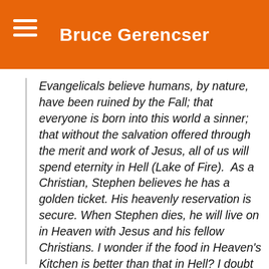Bruce Gerencser
Evangelicals believe humans, by nature, have been ruined by the Fall; that everyone is born into this world a sinner; that without the salvation offered through the merit and work of Jesus, all of us will spend eternity in Hell (Lake of Fire).  As a Christian, Stephen believes he has a golden ticket. His heavenly reservation is secure. When Stephen dies, he will live on in Heaven with Jesus and his fellow Christians. I wonder if the food in Heaven's Kitchen is better than that in Hell? I doubt it.